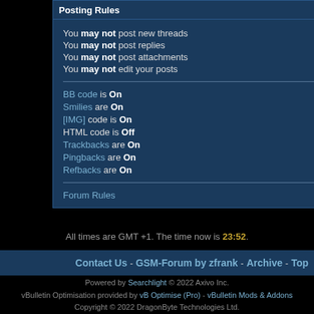Posting Rules
You may not post new threads
You may not post replies
You may not post attachments
You may not edit your posts
BB code is On
Smilies are On
[IMG] code is On
HTML code is Off
Trackbacks are On
Pingbacks are On
Refbacks are On
Forum Rules
All times are GMT +1. The time now is 23:52.
Contact Us - GSM-Forum by zfrank - Archive - Top
Powered by Searchlight © 2022 Axivo Inc.
vBulletin Optimisation provided by vB Optimise (Pro) - vBulletin Mods & Addons
Copyright © 2022 DragonByte Technologies Ltd.
- GSM Hosting Ltd. - 1999-2017 -
Page generated in 0.11064 seconds with 7 queries
SEO by vBSEO